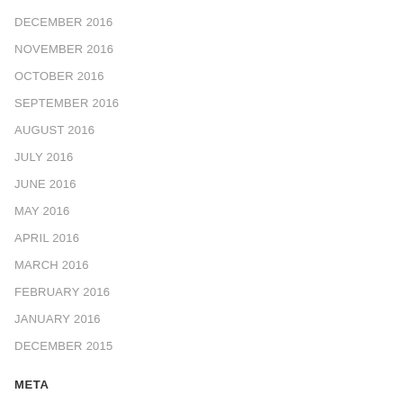DECEMBER 2016
NOVEMBER 2016
OCTOBER 2016
SEPTEMBER 2016
AUGUST 2016
JULY 2016
JUNE 2016
MAY 2016
APRIL 2016
MARCH 2016
FEBRUARY 2016
JANUARY 2016
DECEMBER 2015
META